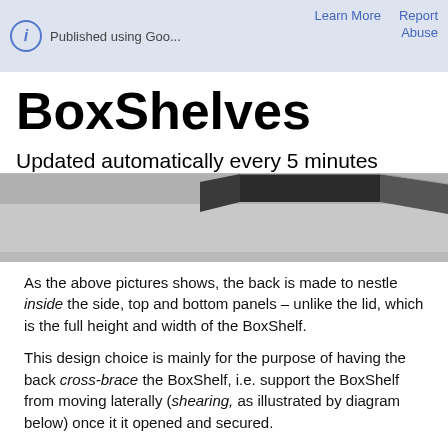Published using Goo...  Learn More  Report  Abuse
BoxShelves
Updated automatically every 5 minutes
[Figure (photo): Close-up photo of a dark box/shelf component showing the back panel nestled inside the side panels on a grey surface]
As the above pictures shows, the back is made to nestle inside the side, top and bottom panels – unlike the lid, which is the full height and width of the BoxShelf.
This design choice is mainly for the purpose of having the back cross-brace the BoxShelf, i.e. support the BoxShelf from moving laterally (shearing, as illustrated by diagram below) once it it opened and secured.